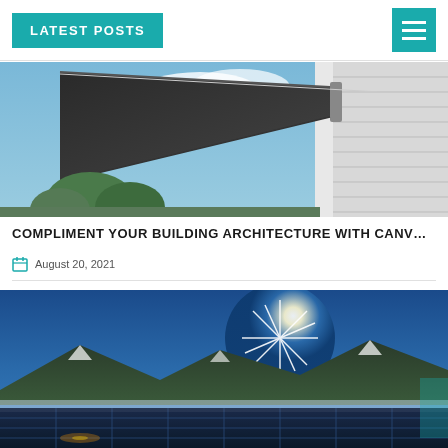LATEST POSTS
[Figure (photo): A dark retractable awning extended from a white house exterior, with blue sky and green trees in the background.]
COMPLIMENT YOUR BUILDING ARCHITECTURE WITH CANV…
August 20, 2021
[Figure (photo): Solar panels on a roof or ground installation with a bright starburst sun in a deep blue sky and mountain landscape in the background.]